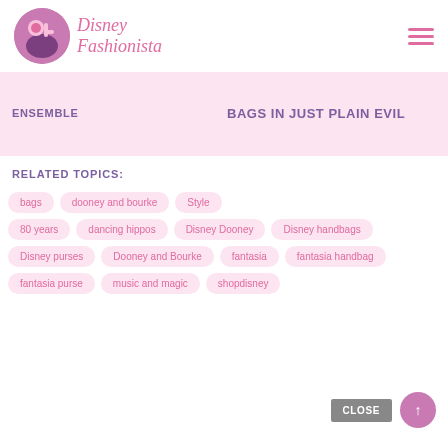Disney Fashionista
ENSEMBLE
BAGS IN JUST PLAIN EVIL
RELATED TOPICS:
bags
dooney and bourke
Style
80 years
dancing hippos
Disney Dooney
Disney handbags
Disney purses
Dooney and Bourke
fantasia
fantasia handbag
fantasia purse
music and magic
shopdisney